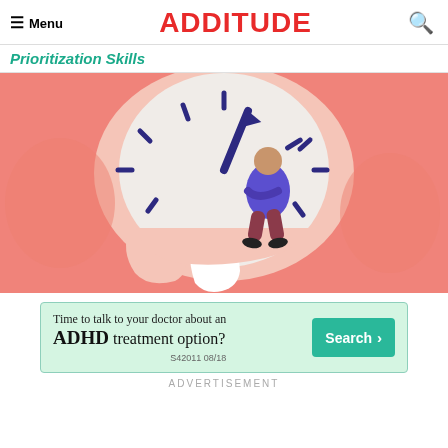Menu | ADDITUDE
Prioritization Skills
[Figure (illustration): Colorful illustration of a person sitting on a large clock hand, set against a coral/salmon colored background with a melting clock shape. The person is wearing a blue-purple jacket and maroon pants. Clock tick marks are visible around the face.]
[Figure (other): Advertisement banner: 'Time to talk to your doctor about an ADHD treatment option?' with a teal Search button and reference code S42011 08/18]
ADVERTISEMENT